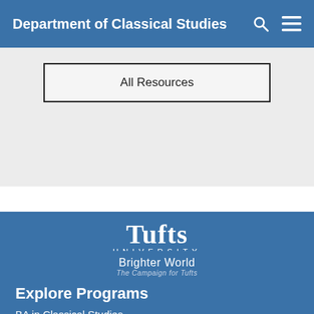Department of Classical Studies
All Resources
[Figure (logo): Tufts University logo with 'Tufts' in bold serif font and 'UNIVERSITY' in spaced caps beneath]
Brighter World
The Campaign for Tufts
Explore Programs
BA in Classical Studies